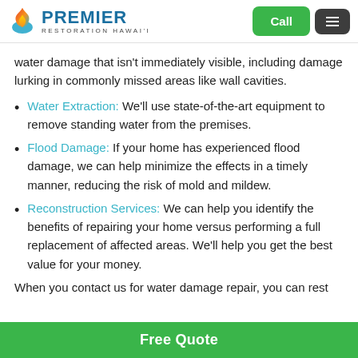Premier Restoration Hawai'i — Call | Menu
water damage that isn't immediately visible, including damage lurking in commonly missed areas like wall cavities.
Water Extraction: We'll use state-of-the-art equipment to remove standing water from the premises.
Flood Damage: If your home has experienced flood damage, we can help minimize the effects in a timely manner, reducing the risk of mold and mildew.
Reconstruction Services: We can help you identify the benefits of repairing your home versus performing a full replacement of affected areas. We'll help you get the best value for your money.
When you contact us for water damage repair, you can rest
Free Quote